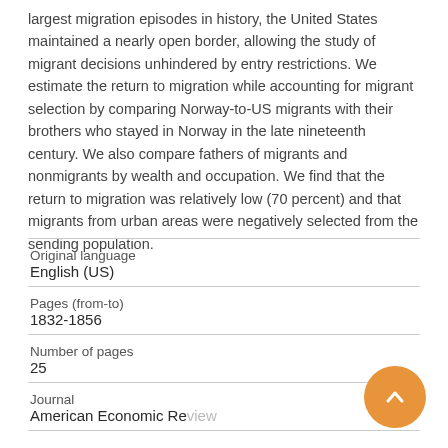largest migration episodes in history, the United States maintained a nearly open border, allowing the study of migrant decisions unhindered by entry restrictions. We estimate the return to migration while accounting for migrant selection by comparing Norway-to-US migrants with their brothers who stayed in Norway in the late nineteenth century. We also compare fathers of migrants and nonmigrants by wealth and occupation. We find that the return to migration was relatively low (70 percent) and that migrants from urban areas were negatively selected from the sending population.
| Original language | English (US) |
| Pages (from-to) | 1832-1856 |
| Number of pages | 25 |
| Journal | American Economic Review |